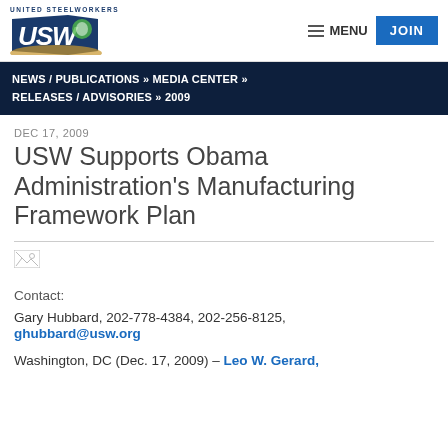United Steelworkers USW | MENU | JOIN
NEWS / PUBLICATIONS » MEDIA CENTER » RELEASES / ADVISORIES » 2009
DEC 17, 2009
USW Supports Obama Administration's Manufacturing Framework Plan
[Figure (photo): Small broken image placeholder]
Contact:
Gary Hubbard, 202-778-4384, 202-256-8125, ghubbard@usw.org
Washington, DC (Dec. 17, 2009) – Leo W. Gerard,